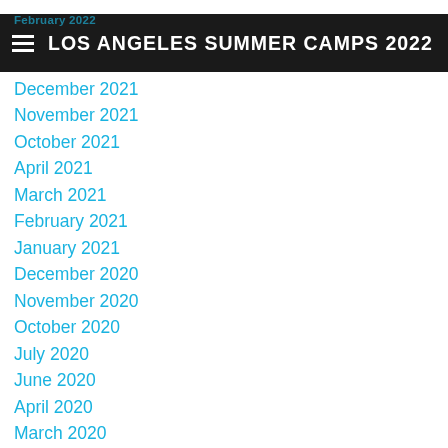February 2022
LOS ANGELES SUMMER CAMPS 2022
December 2021
November 2021
October 2021
April 2021
March 2021
February 2021
January 2021
December 2020
November 2020
October 2020
July 2020
June 2020
April 2020
March 2020
February 2020
January 2020
October 2019